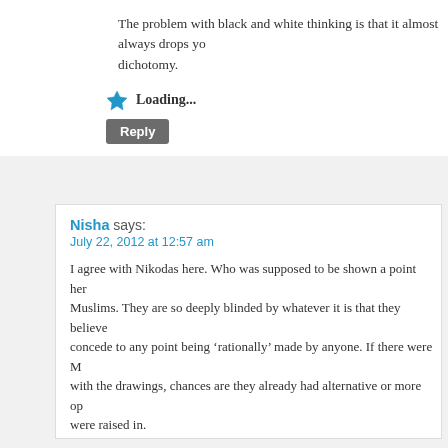The problem with black and white thinking is that it almost always drops yo... dichotomy.
Loading...
Reply
Nisha says:
July 22, 2012 at 12:57 am
I agree with Nikodas here. Who was supposed to be shown a point here... Muslims. They are so deeply blinded by whatever it is that they believe... concede to any point being 'rationally' made by anyone. If there were M... with the drawings, chances are they already had alternative or more op... were raised in.
I don't like the idea of 'offending' people. I don't see what the point is. I... world (which I am defining here according to Julia's video on the mean... approach people with respect and openness, and a willingness to perh... perspective. I don't see what is wrong with the Islamic demand of respe... be challenged. If someone wants to wield violence towards others to up... processes should be challenged rather than the concept of respecting...
Loading...